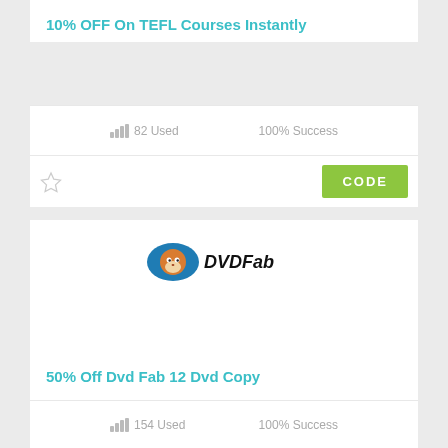10% OFF On TEFL Courses Instantly
82 Used   100% Success
CODE
[Figure (logo): DVDFab logo — oval blue/teal background with cartoon fox, text DVDFab in bold black]
50% Off Dvd Fab 12 Dvd Copy
154 Used   100% Success
CODE